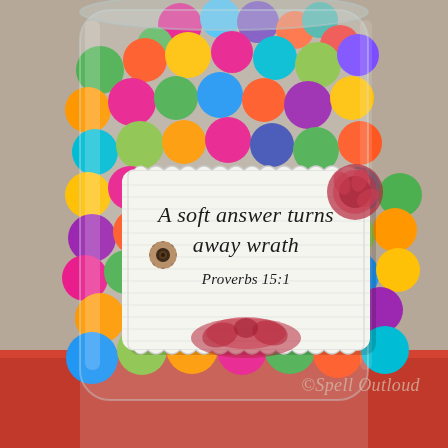[Figure (photo): A clear glass jar filled with colorful pom-poms (neon green, pink, blue, orange, yellow, purple, teal, red, white) sitting on a red surface against a beige/gray background. The jar has a decorative label with scalloped edges, grid-line paper texture, floral decorations (brown daisy on left, red floral motif on right and bottom), and text reading 'A soft answer turns away wrath Proverbs 15:1'.]
©Spell Outloud